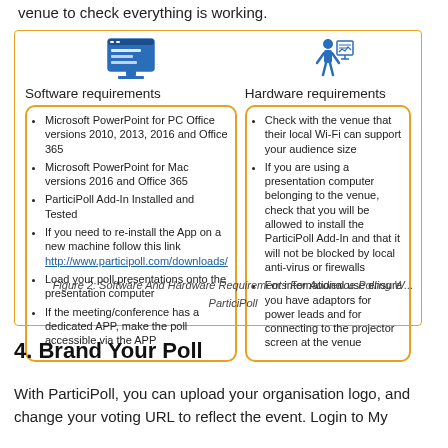venue to check everything is working.
[Figure (infographic): Two-column infographic showing Software requirements (left) and Hardware requirements (right) for audience polling with ParticiPoll. Left column lists: Microsoft PowerPoint for PC Office versions 2010, 2013, 2016 and Office 365; Microsoft PowerPoint for Mac versions 2016 and Office 365; ParticiPoll Add-In Installed and Tested; link to http://www.participoll.com/downloads/; Load your poll presentations onto the presentation computer; If the meeting/conference has a dedicated APP, make the poll accessible via the APP. Right column lists: Check with the venue that their local Wi-Fi can support your audience size; If you are using a presentation computer belonging to the venue, check that you will be allowed to install the ParticiPoll Add-In and that it will not be blocked by local anti-virus or firewalls; For international use ensure you have adaptors for power leads and for connecting to the projector screen at the venue.]
Figure 2: Software And Hardware Requirements For Audience Polling W... ParticiPoll
4. Brand Your Poll
With ParticiPoll, you can upload your organisation logo, and change your voting URL to reflect the event. Login to My